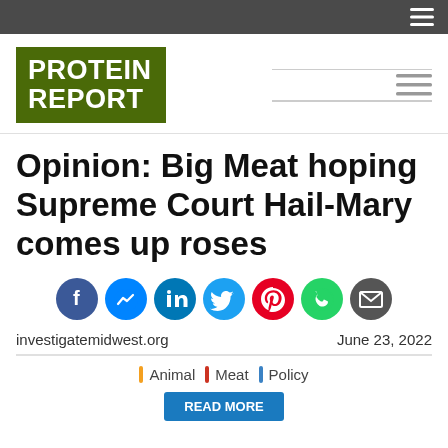[Figure (logo): Protein Report logo — white bold text on dark olive/green background]
Opinion: Big Meat hoping Supreme Court Hail-Mary comes up roses
[Figure (infographic): Social sharing buttons: Facebook, Messenger, LinkedIn, Twitter, Pinterest, WhatsApp, Email]
investigatemidwest.org
June 23, 2022
Animal | Meat | Policy